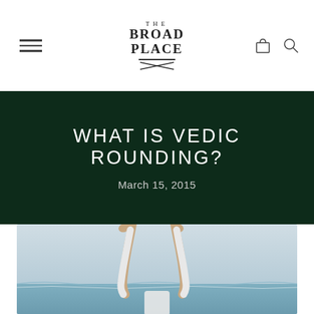THE BROAD PLACE
WHAT IS VEDIC ROUNDING?
March 15, 2015
[Figure (photo): Person doing a yoga pose on a beach, wearing white clothing, legs raised up in the air against an overcast sky and ocean background]